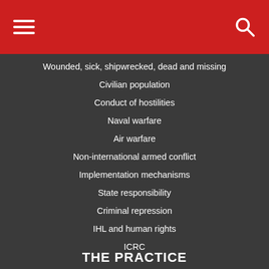Wounded, sick, shipwrecked, dead and missing
Civilian population
Conduct of hostilities
Naval warfare
Air warfare
Non-international armed conflict
Implementation mechanisms
State responsibility
Criminal repression
IHL and human rights
ICRC
THE PRACTICE